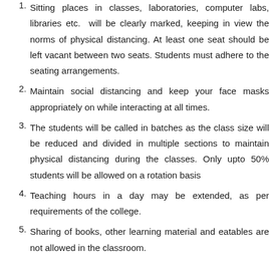Sitting places in classes, laboratories, computer labs, libraries etc. will be clearly marked, keeping in view the norms of physical distancing. At least one seat should be left vacant between two seats. Students must adhere to the seating arrangements.
Maintain social distancing and keep your face masks appropriately on while interacting at all times.
The students will be called in batches as the class size will be reduced and divided in multiple sections to maintain physical distancing during the classes. Only upto 50% students will be allowed on a rotation basis
Teaching hours in a day may be extended, as per requirements of the college.
Sharing of books, other learning material and eatables are not allowed in the classroom.